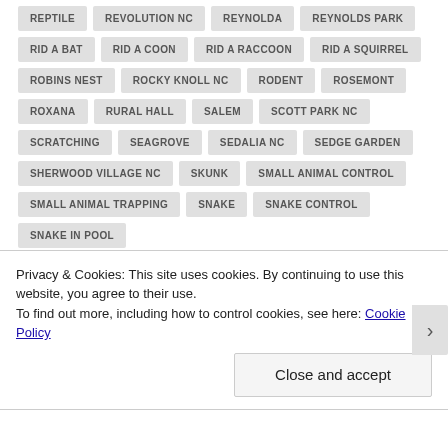REPTILE
REVOLUTION NC
REYNOLDA
REYNOLDS PARK
RID A BAT
RID A COON
RID A RACCOON
RID A SQUIRREL
ROBINS NEST
ROCKY KNOLL NC
RODENT
ROSEMONT
ROXANA
RURAL HALL
SALEM
SCOTT PARK NC
SCRATCHING
SEAGROVE
SEDALIA NC
SEDGE GARDEN
SHERWOOD VILLAGE NC
SKUNK
SMALL ANIMAL CONTROL
SMALL ANIMAL TRAPPING
SNAKE
SNAKE CONTROL
SNAKE IN POOL
Privacy & Cookies: This site uses cookies. By continuing to use this website, you agree to their use.
To find out more, including how to control cookies, see here: Cookie Policy
Close and accept